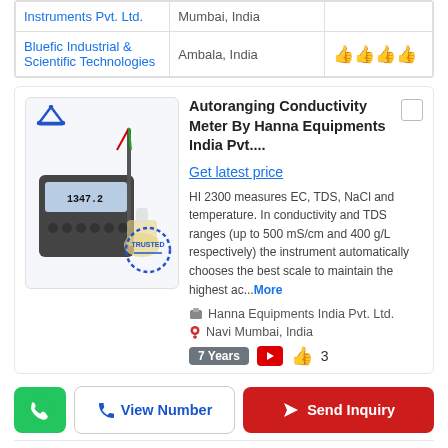| Company | Location | Rating |
| --- | --- | --- |
| Instruments Pvt. Ltd. | Mumbai, India |  |
| Bluefic Industrial & Scientific Technologies | Ambala, India | 👍👍👍👍 |
Autoranging Conductivity Meter By Hanna Equipments India Pvt....
Get latest price
HI 2300 measures EC, TDS, NaCl and temperature. In conductivity and TDS ranges (up to 500 mS/cm and 400 g/L respectively) the instrument automatically chooses the best scale to maintain the highest ac...More
Hanna Equipments India Pvt. Ltd.
Navi Mumbai, India
7 Years  3
[Figure (photo): Autoranging conductivity meter device with probe in flask, showing digital display reading 1347.2, with a blue crown icon and a blue TRUSTED stamp]